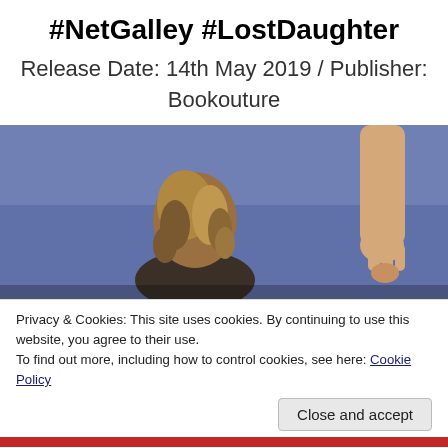#NetGalley #LostDaughter
Release Date: 14th May 2019 / Publisher: Bookouture
[Figure (photo): A child with wavy brown hair seen from behind, holding the hand of an adult against a blurred blue background.]
Privacy & Cookies: This site uses cookies. By continuing to use this website, you agree to their use.
To find out more, including how to control cookies, see here: Cookie Policy
Close and accept